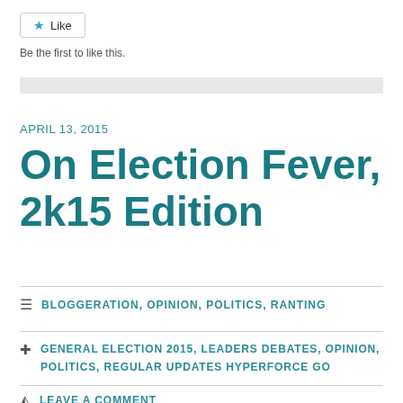[Figure (other): Like button widget with star icon]
Be the first to like this.
APRIL 13, 2015
On Election Fever, 2k15 Edition
BLOGGERATION, OPINION, POLITICS, RANTING
GENERAL ELECTION 2015, LEADERS DEBATES, OPINION, POLITICS, REGULAR UPDATES HYPERFORCE GO
LEAVE A COMMENT